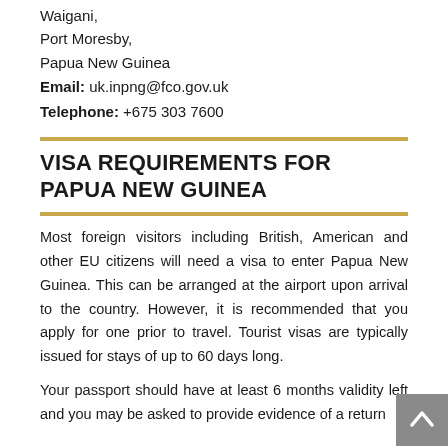Waigani,
Port Moresby,
Papua New Guinea
Email: uk.inpng@fco.gov.uk
Telephone: +675 303 7600
VISA REQUIREMENTS FOR PAPUA NEW GUINEA
Most foreign visitors including British, American and other EU citizens will need a visa to enter Papua New Guinea. This can be arranged at the airport upon arrival to the country. However, it is recommended that you apply for one prior to travel. Tourist visas are typically issued for stays of up to 60 days long.
Your passport should have at least 6 months validity left and you may be asked to provide evidence of a return